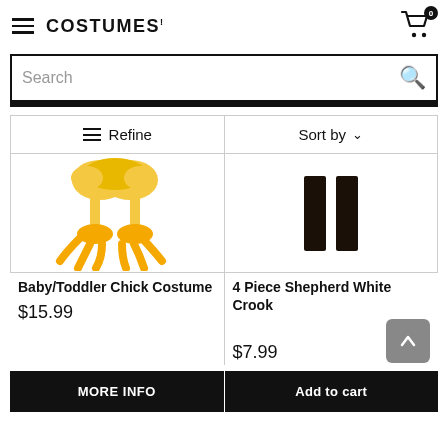COSTUMES!
Search
≡ Refine   Sort by ⌄
[Figure (photo): Baby/Toddler Chick Costume product photo showing yellow fluffy chick feet with orange webbed toes]
[Figure (photo): 4 Piece Shepherd White Crook product photo showing two dark brown/black rectangular pieces on white background]
Baby/Toddler Chick Costume
4 Piece Shepherd White Crook
$15.99
$7.99
MORE INFO
Add to cart